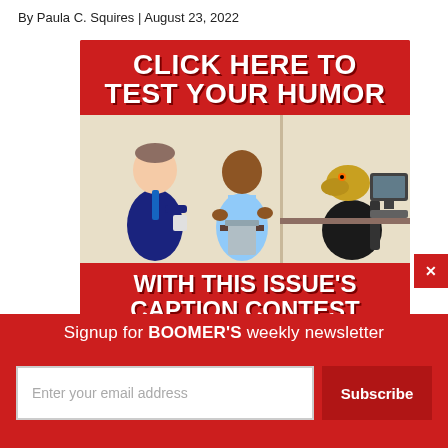By Paula C. Squires | August 23, 2022
[Figure (illustration): Advertisement banner with red background showing 'CLICK HERE TO TEST YOUR HUMOR' text at top, cartoon illustration of three office workers (two humans and one with a lizard/dinosaur head at a computer), and 'WITH THIS ISSUE'S CAPTION CONTEST' text at bottom. A red close button with X is at the right side.]
Signup for BOOMER'S weekly newsletter
Enter your email address
Subscribe